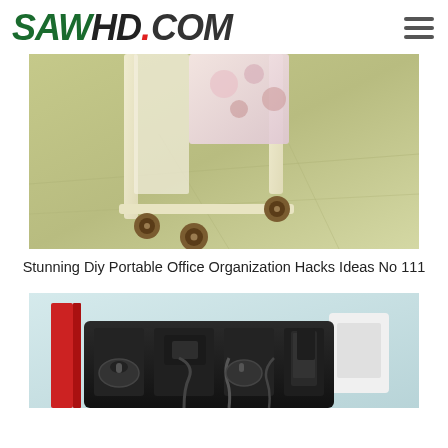SAWHD.COM
[Figure (photo): Close-up photo of a white portable rolling cart/trolley with caster wheels on a light green tile floor, with a floral patterned panel visible]
Stunning Diy Portable Office Organization Hacks Ideas No 111
[Figure (photo): Photo of a black desk organizer with multiple compartments holding various office electronics and cables, with a light blue-green background]